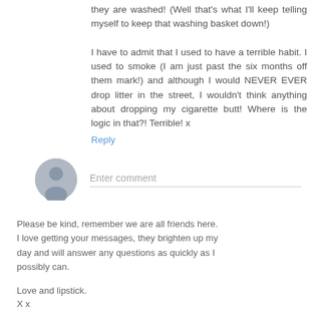they are washed! (Well that's what I'll keep telling myself to keep that washing basket down!)

I have to admit that I used to have a terrible habit. I used to smoke (I am just past the six months off them mark!) and although I would NEVER EVER drop litter in the street, I wouldn't think anything about dropping my cigarette butt! Where is the logic in that?! Terrible! x
Reply
[Figure (illustration): Generic user avatar icon — grey circle with silhouette of a person]
Enter comment
Please be kind, remember we are all friends here. I love getting your messages, they brighten up my day and will answer any questions as quickly as I possibly can.
Love and lipstick.
X x